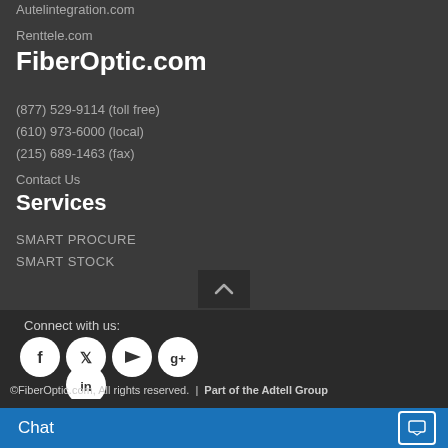Autelintegration.com
Renttele.com
FiberOptic.com
(877) 529-9114 (toll free)
(610) 973-6000 (local)
(215) 689-1463 (fax)
Contact Us
Services
SMART PROCURE
SMART STOCK
Connect with us:
[Figure (illustration): Social media icons: Facebook, Twitter, YouTube, Google+, LinkedIn]
©FiberOptic.com, All rights reserved.  |  Part of the Adtell Group
Chat